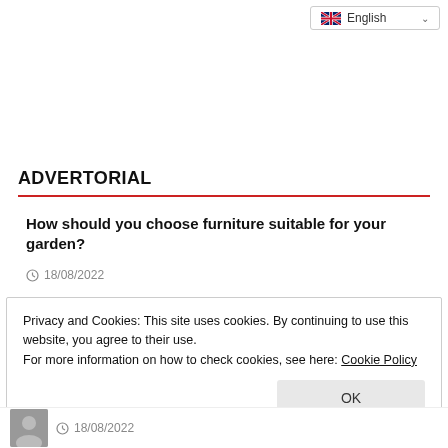English
ADVERTORIAL
How should you choose furniture suitable for your garden?
18/08/2022
Privacy and Cookies: This site uses cookies. By continuing to use this website, you agree to their use.
For more information on how to check cookies, see here: Cookie Policy
OK
18/08/2022